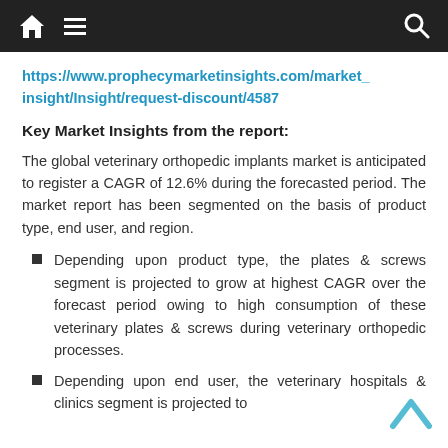Navigation bar with home, menu, and search icons
https://www.prophecymarketinsights.com/market_insight/Insight/request-discount/4587
Key Market Insights from the report:
The global veterinary orthopedic implants market is anticipated to register a CAGR of 12.6% during the forecasted period. The market report has been segmented on the basis of product type, end user, and region.
Depending upon product type, the plates & screws segment is projected to grow at highest CAGR over the forecast period owing to high consumption of these veterinary plates & screws during veterinary orthopedic processes.
Depending upon end user, the veterinary hospitals & clinics segment is projected to